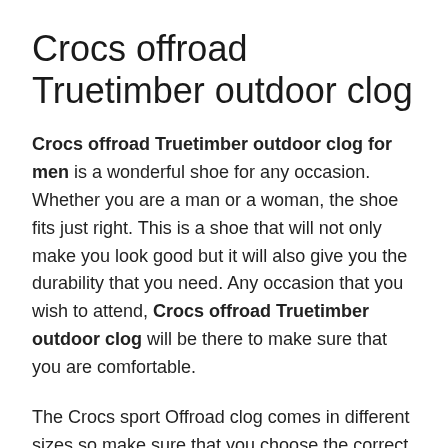Crocs offroad Truetimber outdoor clog
Crocs offroad Truetimber outdoor clog for men is a wonderful shoe for any occasion. Whether you are a man or a woman, the shoe fits just right. This is a shoe that will not only make you look good but it will also give you the durability that you need. Any occasion that you wish to attend, Crocs offroad Truetimber outdoor clog will be there to make sure that you are comfortable.
The Crocs sport Offroad clog comes in different sizes so make sure that you choose the correct size. If you purchase the wrong size you might end up having to go back to the store to purchase a new shoe. The great thing about the sandals is that they will last for a long time and not break the budget. You can purchase these shoes for a